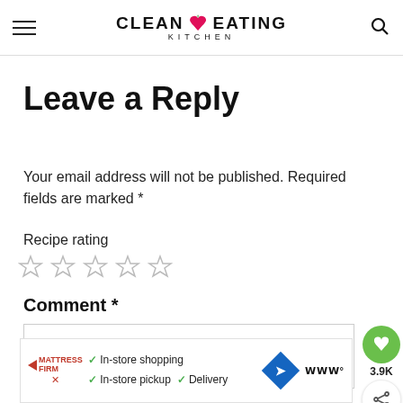CLEAN EATING KITCHEN
Leave a Reply
Your email address will not be published. Required fields are marked *
Recipe rating
[Figure (other): Five empty star rating icons]
Comment *
[Figure (other): Comment text area input box]
[Figure (other): Ad banner: Mattress Firm — In-store shopping, In-store pickup, Delivery]